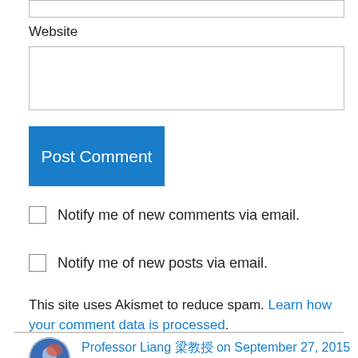Website
Post Comment
Notify me of new comments via email.
Notify me of new posts via email.
This site uses Akismet to reduce spam. Learn how your comment data is processed.
Professor Liang 梁教授 on September 27, 2015 at 10:17 AM